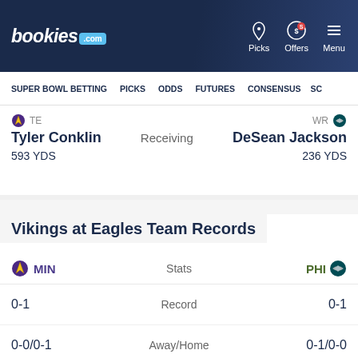bookies.com | Picks | Offers | Menu
SUPER BOWL BETTING   PICKS   ODDS   FUTURES   CONSENSUS   SC
TE Tyler Conklin   Receiving   WR DeSean Jackson
593 YDS   236 YDS
Vikings at Eagles Team Records
| MIN | Stats | PHI |
| --- | --- | --- |
| 0-1 | Record | 0-1 |
| 0-0/0-1 | Away/Home | 0-1/0-0 |